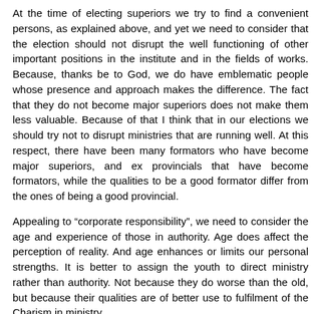At the time of electing superiors we try to find a convenient persons, as explained above, and yet we need to consider that the election should not disrupt the well functioning of other important positions in the institute and in the fields of works. Because, thanks be to God, we do have emblematic people whose presence and approach makes the difference. The fact that they do not become major superiors does not make them less valuable. Because of that I think that in our elections we should try not to disrupt ministries that are running well. At this respect, there have been many formators who have become major superiors, and ex provincials that have become formators, while the qualities to be a good formator differ from the ones of being a good provincial.
Appealing to “corporate responsibility”, we need to consider the age and experience of those in authority. Age does affect the perception of reality. And age enhances or limits our personal strengths. It is better to assign the youth to direct ministry rather than authority. Not because they do worse than the old, but because their qualities are of better use to fulfilment of the Charism in ministry.
As mentioned above, the age span for youthfulness and old age has